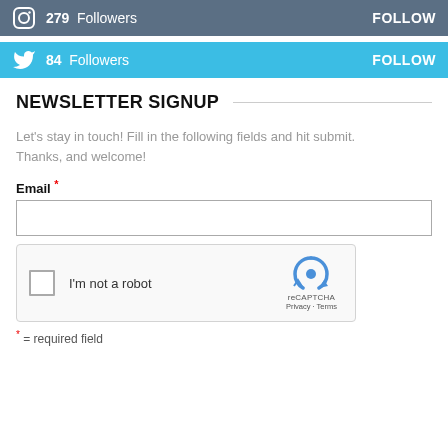[Figure (infographic): Instagram social follow bar with icon, 279 Followers, and FOLLOW button on dark blue-grey background]
[Figure (infographic): Twitter social follow bar with bird icon, 84 Followers, and FOLLOW button on light blue background]
NEWSLETTER SIGNUP
Let's stay in touch! Fill in the following fields and hit submit. Thanks, and welcome!
Email *
[Figure (screenshot): reCAPTCHA widget with checkbox labeled I'm not a robot and reCAPTCHA logo with Privacy · Terms links]
* = required field